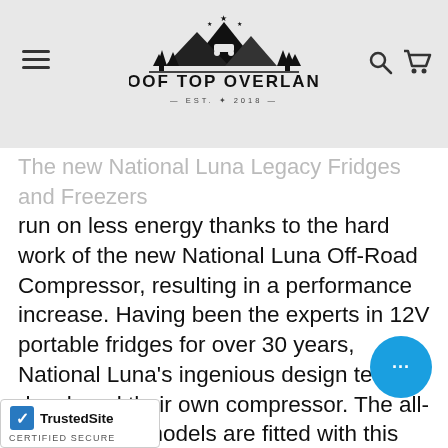[Figure (logo): Roof Top Overland logo with mountain, trees and vehicle silhouette graphic above the brand name text]
The new National Luna Legacy Fridges and Freezers run on less energy thanks to the hard work of the new National Luna Off-Road Compressor, resulting in a performance increase. Having been the experts in 12V portable fridges for over 30 years, National Luna's ingenious design team developed their own compressor.  The all-new Legacy models are fitted with this new Off-Road Compressor and have an AC/DC electronic power supply fitted as standard equipment. The Legacy models will operate from 9.6V to 31.5V DC, as well as AC voltage ranging from 100V to 240V. Automatic switching is standard. After rigorous development and testing, this OEM Off-Road Compressor, designed specifically to handle the